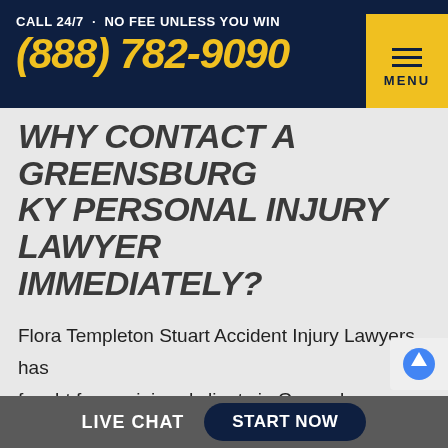CALL 24/7 · NO FEE UNLESS YOU WIN (888) 782-9090 MENU
WHY CONTACT A GREENSBURG KY PERSONAL INJURY LAWYER IMMEDIATELY?
Flora Templeton Stuart Accident Injury Lawyers has fought for our injured clients in Greensburg, Green County for over 45 years.
We represent those who have been injured in car accidents, semi-truck accidents, wrongful death
LIVE CHAT  START NOW